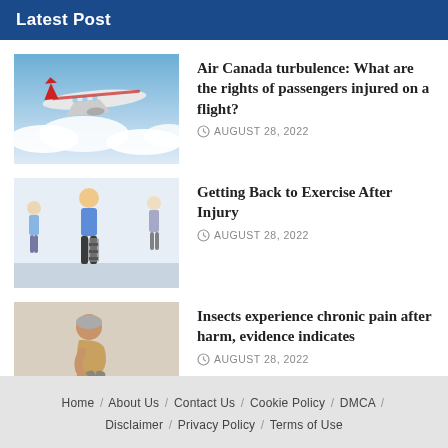Latest Post
[Figure (photo): Air Canada airplane flying above clouds]
Air Canada turbulence: What are the rights of passengers injured on a flight?
AUGUST 28, 2022
[Figure (photo): Person with leg injury walking with medical professionals in background]
Getting Back to Exercise After Injury
AUGUST 28, 2022
[Figure (photo): Elderly person sitting hunched over, appearing to be in pain]
Insects experience chronic pain after harm, evidence indicates
AUGUST 28, 2022
Home / About Us / Contact Us / Cookie Policy / DMCA / Disclaimer / Privacy Policy / Terms of Use